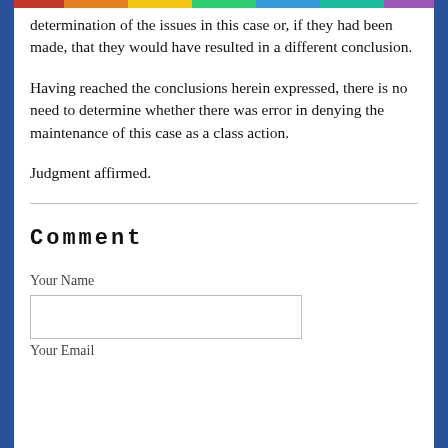determination of the issues in this case or, if they had been made, that they would have resulted in a different conclusion.
Having reached the conclusions herein expressed, there is no need to determine whether there was error in denying the maintenance of this case as a class action.
Judgment affirmed.
Comment
Your Name
Your Email